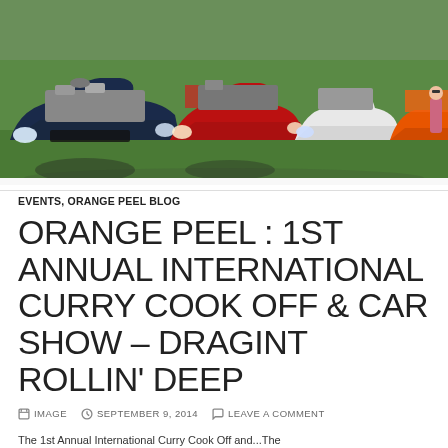[Figure (photo): Row of modified sports cars parked on grass with hoods open at a car show. Cars include a dark blue, red, white, and orange car visible from the front. Green trees in background.]
EVENTS, ORANGE PEEL BLOG
ORANGE PEEL : 1ST ANNUAL INTERNATIONAL CURRY COOK OFF & CAR SHOW – DRAGINT ROLLIN' DEEP
IMAGE   SEPTEMBER 9, 2014   LEAVE A COMMENT
The 1st Annual International Curry Cook Off and...The